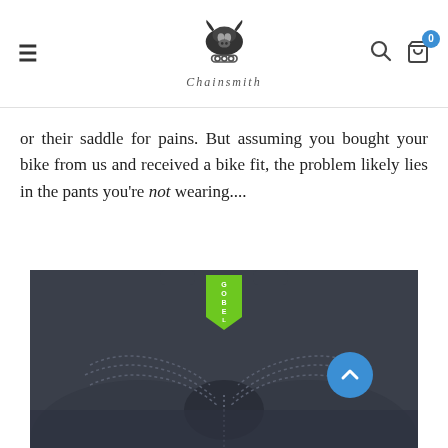Chainsmith [logo] navigation bar with hamburger menu, search and cart icons
or their saddle for pains. But assuming you bought your bike from us and received a bike fit, the problem likely lies in the pants you're not wearing....
[Figure (photo): Close-up photo of black cycling bib shorts/chamois pad from the back, with a green logo tag visible at the top center. The padded chamois area is visible with stitching details.]